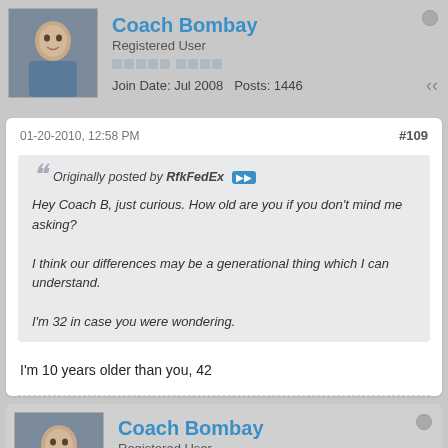Coach Bombay — Registered User — Join Date: Jul 2008  Posts: 1446
01-20-2010, 12:58 PM  #109
Originally posted by RfkFedEx
Hey Coach B, just curious. How old are you if you don't mind me asking?

I think our differences may be a generational thing which I can understand.

I'm 32 in case you were wondering.
I'm 10 years older than you, 42
Coach Bombay — Registered User — Join Date: Jul 2008  Posts: 1446